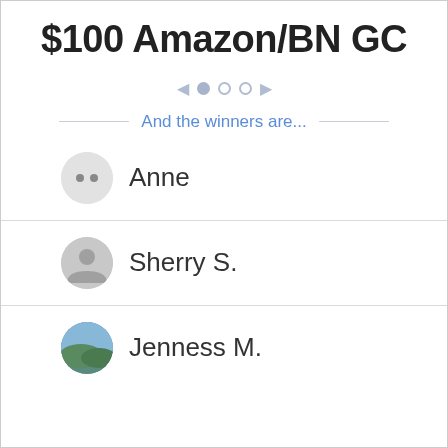$100 Amazon/BN GC
[Figure (other): Carousel navigation: left arrow, filled dot, two empty dots, right arrow]
And the winners are...
Anne
Sherry S.
Jenness M.